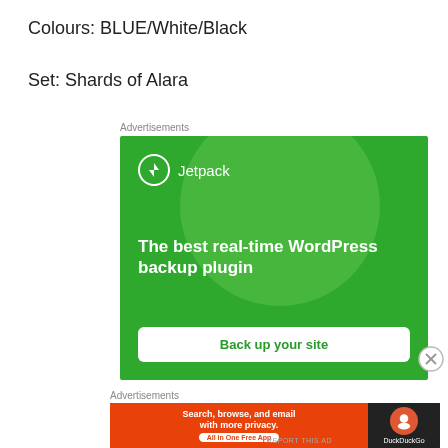Colours: BLUE/White/Black
Set: Shards of Alara
Advertisements
[Figure (screenshot): Jetpack advertisement banner: green background, circle graphic, Jetpack logo with lightning bolt icon, headline 'The best real-time WordPress backup plugin', white button 'Back up your site']
Advertisements
[Figure (screenshot): DuckDuckGo advertisement banner: orange left panel with text 'Search, browse, and email with more privacy. All in One Free App' and dark right panel with DuckDuckGo logo]